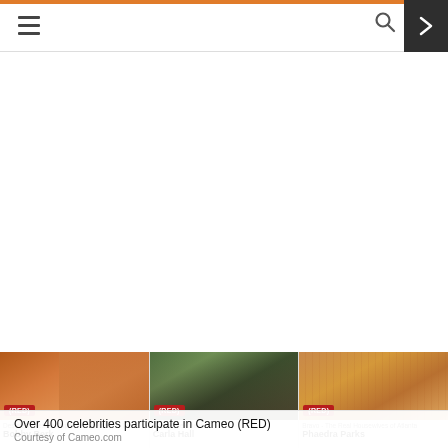≡  [search icon] >
Advertisement
[Figure (photo): Photo of Bobby Berk wearing an orange/brown shirt, with a (RED) badge overlay]
Design & Lifestyle Expert and Member of Net...
Bobby Berk
[Figure (photo): Photo of Carla Hall with natural hair and colorful neckwear, holding something dark, with a (RED) badge overlay]
Chef - The Chew
Carla Hall
[Figure (photo): Photo of Phaedra Parks wearing a striped blouse, with a (RED) badge overlay]
Bravo - The Real Housewives of Atlanta
Phaedra Parks
Over 400 celebrities participate in Cameo (RED)
Courtesy of Cameo.com